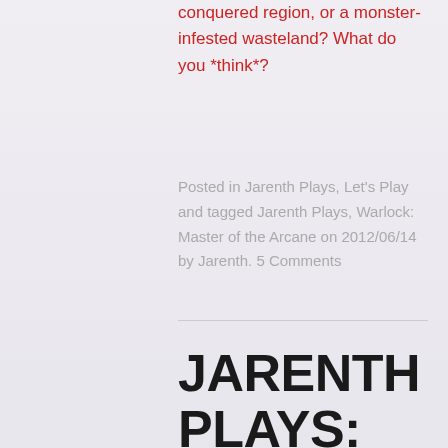conquered region, or a monster-infested wasteland? What do you *think*?
Posted in Jarenth Plays, Let's Play and tagged Jarenth Plays, Warlock: Master of the Arcane on 2012/06/14 by Jarenth. 5 Comments
JARENTH PLAYS: WARLOCK: MASTER OF THE ARCANE — EPISODE 12: BEYOND THE DARK